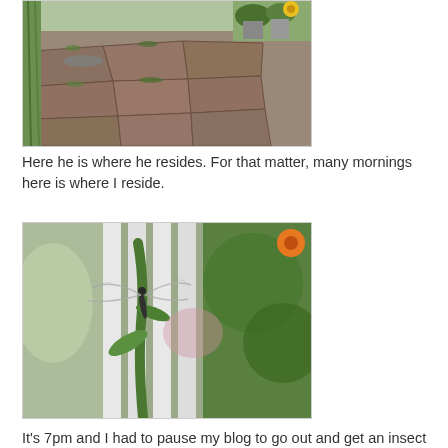[Figure (photo): Outdoor stone patio path with moss growing between flagstones, potted plants and flowers visible in background]
Here he is where he resides. For that matter, many mornings here is where I reside.
[Figure (photo): Close-up photograph of a dragonfly perched on a green plant stem, with white fence and foliage in background]
It's 7pm and I had to pause my blog to go out and get an insect picture. I could get pictures of grasshoppers, but given the choice I would rather squish them under my shoe that take their picture. I am so pleased I was able to get this picture.  There are lots of fallen twigs and sticks. I'd better go